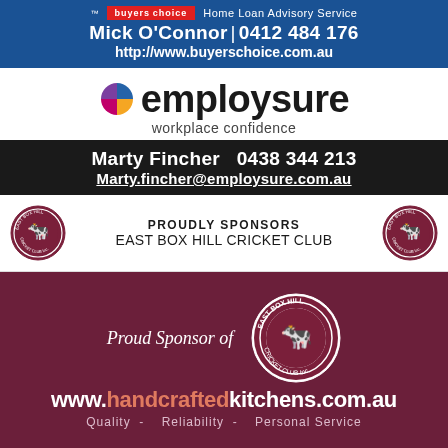[Figure (logo): Buyers Choice Home Loan Advisory Service logo with blue background. TM mark, red logo badge. Text: Mick O'Connor | 0412 484 176, http://www.buyerschoice.com.au]
[Figure (logo): Employsure logo with colourful pie-segment icon and bold text 'employsure', tagline 'workplace confidence']
Marty Fincher   0438 344 213
Marty.fincher@employsure.com.au
[Figure (logo): East Box Hill Cricket Club Inc. roundel logos on left and right with text 'PROUDLY SPONSORS EAST BOX HILL CRICKET CLUB' in centre]
[Figure (logo): Maroon background section: 'Proud Sponsor of' italic text with East Box Hill Cricket Club Inc. large roundel logo, URL www.handcraftedkitchens.com.au, tagline 'Quality - Reliability - Personal Service']